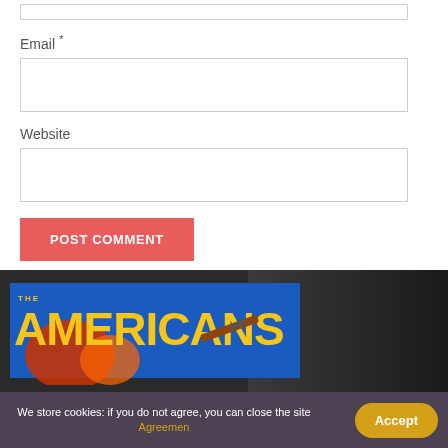Email *
Website
POST COMMENT
[Figure (screenshot): The Americans TV show logo on dark background with stylized text in yellow/gold on blue, with black and white photo of a person in background]
We store cookies: if you do not agree, you can close the site Agreement
Accept